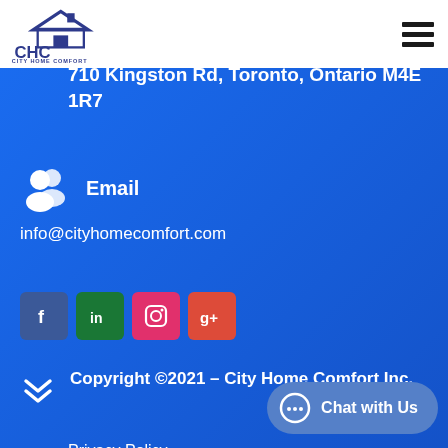[Figure (logo): City Home Comfort (CHC) logo — house icon above CHC letters, company name below]
710 Kingston Rd, Toronto, Ontario M4E 1R7
Email
info@cityhomecomfort.com
[Figure (infographic): Social media icons: Facebook (blue), LinkedIn (green), Instagram (pink/red), Google+ (red)]
Copyright ©2021 – City Home Comfort Inc.
Privacy Policy
Chat with Us